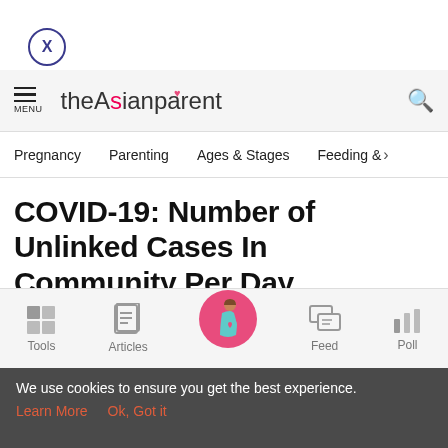[Figure (other): Close button — circle with X inside]
theAsianparent — menu icon and search icon in header bar
Pregnancy   Parenting   Ages & Stages   Feeding & >
COVID-19: Number of Unlinked Cases In Community Per Day Increases from 19 to 22 In One Week
[Figure (other): Bottom navigation bar with icons: Tools, Articles, (pregnant woman in pink circle), Feed, Poll]
We use cookies to ensure you get the best experience.
Learn More   Ok, Got it